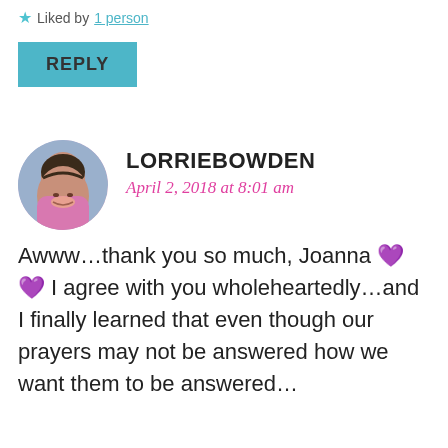★ Liked by 1 person
REPLY
LORRIEBOWDEN
April 2, 2018 at 8:01 am
Awww…thank you so much, Joanna 💜💜 I agree with you wholeheartedly…and I finally learned that even though our prayers may not be answered how we want them to be answered…